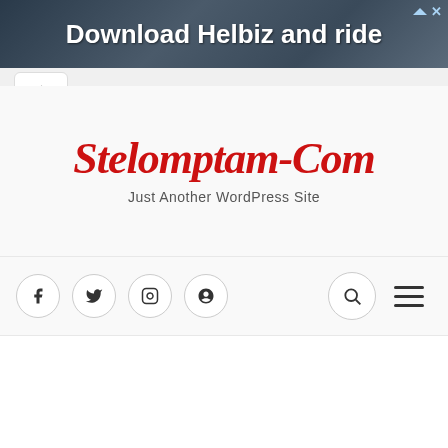[Figure (screenshot): Advertisement banner showing 'Download Helbiz and ride' text over a dark street/city background image with close and mute icons in the top right corner]
Stelomptam-Com
Just Another WordPress Site
[Figure (screenshot): Website navigation bar with social media icon buttons (Facebook, Twitter, Instagram, Google+) on the left and search and hamburger menu icons on the right]